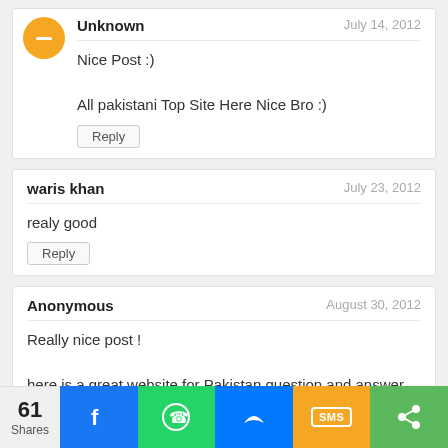Unknown — July 14, 2012
Nice Post :)
All pakistani Top Site Here Nice Bro :)
Reply
waris khan — July 23, 2012
realy good
Reply
Anonymous — August 30, 2012
Really nice post !
here is a great website for Pakistan question and answer
http://www.pakplanet.com.pk
61 Shares